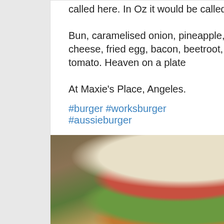The Aussie burger as it is called here.  In Oz it would be called a Works burger.
Bun, caramelised onion, pineapple, large beef patty, cheese, fried egg, bacon, beetroot, lettuce and tomato. Heaven on a plate
At Maxie's Place, Angeles.
#burger #worksburger #aussieburger
[Figure (photo): A large layered burger (Aussie/Works burger) on a white plate, showing bun, lettuce, tomato, bacon, egg, cheese, beetroot and caramelised onion layers. Green background visible.]
2   3